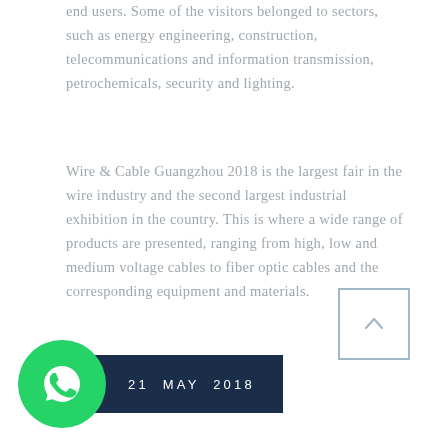end users. Some of the visitors belonged to sectors, such as energy engineering, construction, telecommunications and information transmission, petrochemicals, security and lighting.
Wire & Cable Guangzhou 2018 is the largest fair in the wire industry and the second largest industrial exhibition in the country. This is where a wide range of products are presented, ranging from high, low and medium voltage cables to fiber optic cables and the corresponding equipment and materials.
[Figure (other): Scroll-to-top button: a square with a border containing an upward-pointing chevron arrow]
[Figure (logo): WhatsApp logo: green circle with white phone handset icon]
21 MAY 2018